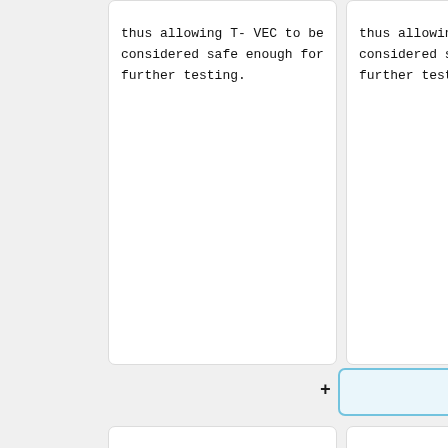thus allowing T-VEC to be considered safe enough for further testing.
thus allowing T-VEC to be considered safe enough for further testing.
The potency of the virus against tumors was also of interest to the researchers. The virus was found to
The potency of the virus against tumors was also of interest to the researchers. The virus was found to